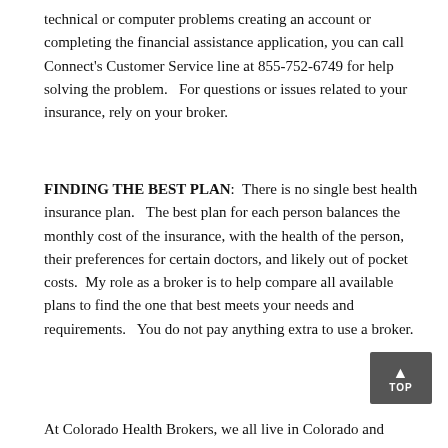technical or computer problems creating an account or completing the financial assistance application, you can call Connect's Customer Service line at 855-752-6749 for help solving the problem.   For questions or issues related to your insurance, rely on your broker.
FINDING THE BEST PLAN:  There is no single best health insurance plan.   The best plan for each person balances the monthly cost of the insurance, with the health of the person, their preferences for certain doctors, and likely out of pocket costs.  My role as a broker is to help compare all available plans to find the one that best meets your needs and requirements.   You do not pay anything extra to use a broker.
At Colorado Health Brokers, we all live in Colorado and